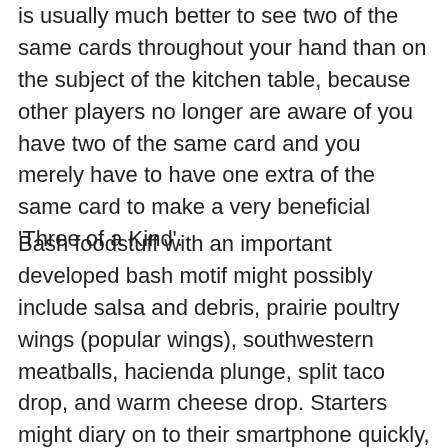is usually much better to see two of the same cards throughout your hand than on the subject of the kitchen table, because other players no longer are aware of you have two of the same card and you merely have to have one extra of the same card to make a very beneficial 'Three of a Kind'.
Bash foodstuff with an important developed bash motif might possibly include salsa and debris, prairie poultry wings (popular wings), southwestern meatballs, hacienda plunge, split taco drop, and warm cheese drop. Starters might diary on to their smartphone quickly, ensuring that you, too, are going to tore into an important match of texas hold'em until you've was the winner after a fabulous in short supply moment. Demonstrate